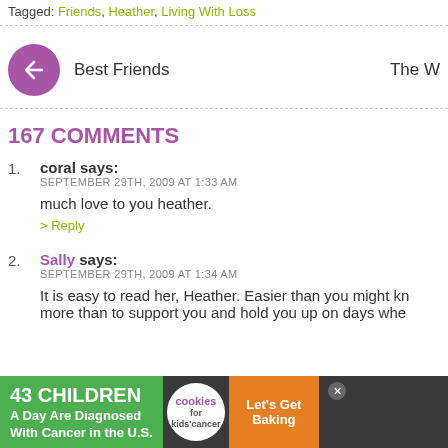Tagged: Friends, Heather, Living With Loss
[Figure (other): Navigation button: purple circle with left arrow, labeled 'Best Friends' on left and 'The W' on right]
167 COMMENTS
1. coral says: SEPTEMBER 29TH, 2009 AT 1:33 AM — much love to you heather. > Reply
2. Sally says: SEPTEMBER 29TH, 2009 AT 1:34 AM — It is easy to read her, Heather. Easier than you might kn… more than to support you and hold you up on days whe…
[Figure (photo): Advertisement banner: '43 CHILDREN A Day Are Diagnosed With Cancer in the U.S.' with cookies for kids cancer logo and Let's Get Baking button]